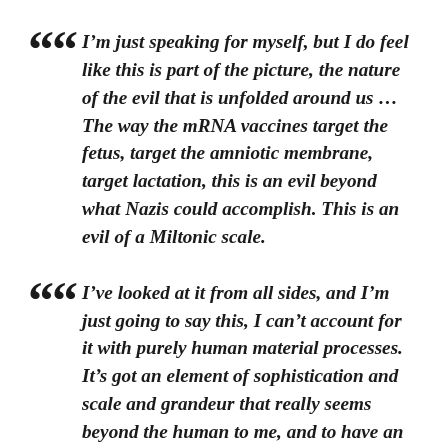“I’m just speaking for myself, but I do feel like this is part of the picture, the nature of the evil that is unfolded around us … The way the mRNA vaccines target the fetus, target the amniotic membrane, target lactation, this is an evil beyond what Nazis could accomplish. This is an evil of a Miltonic scale.
“I’ve looked at it from all sides, and I’m just going to say this, I can’t account for it with purely human material processes. It’s got an element of sophistication and scale and grandeur that really seems beyond the human to me, and to have an element of massive existential evil.